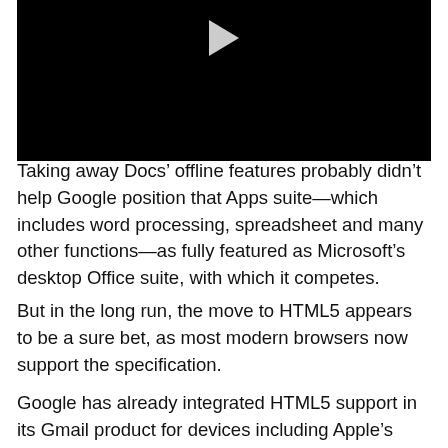[Figure (screenshot): Black video player thumbnail with a light grey play button triangle at the top center]
Taking away Docs’ offline features probably didn’t help Google position that Apps suite—which includes word processing, spreadsheet and many other functions—as fully featured as Microsoft’s desktop Office suite, with which it competes.
But in the long run, the move to HTML5 appears to be a sure bet, as most modern browsers now support the specification.
Google has already integrated HTML5 support in its Gmail product for devices including Apple’s iPhone.